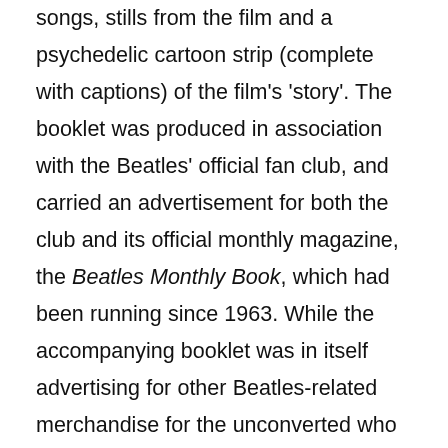glossy booklet which contained the lyrics of the songs, stills from the film and a psychedelic cartoon strip (complete with captions) of the film's 'story'. The booklet was produced in association with the Beatles' official fan club, and carried an advertisement for both the club and its official monthly magazine, the Beatles Monthly Book, which had been running since 1963. While the accompanying booklet was in itself advertising for other Beatles-related merchandise for the unconverted who were not fan-club members, it also served another, more subtle 'reassuring' function for the 58,000 subscribers. With a booklet containing illustrations executed in a recognizably similar style to the book and its illustrations, and to show the